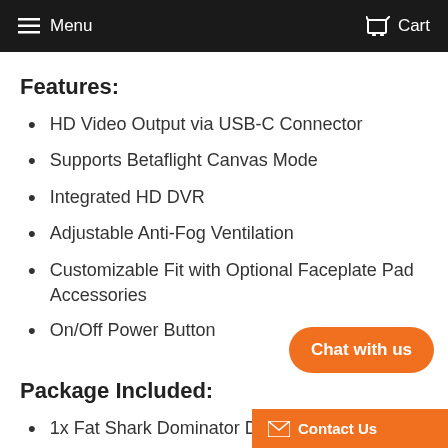Menu  Cart
Features:
HD Video Output via USB-C Connector
Supports Betaflight Canvas Mode
Integrated HD DVR
Adjustable Anti-Fog Ventilation
Customizable Fit with Optional Faceplate Pad Accessories
On/Off Power Button
Package Included:
1x Fat Shark Dominator Digital HD